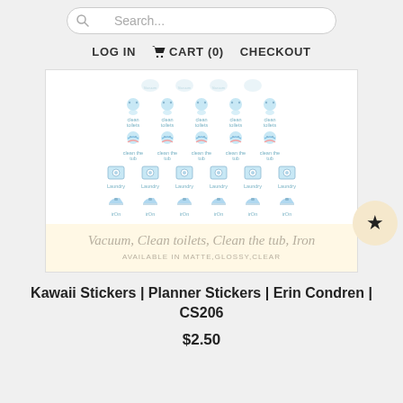Search...
LOG IN  CART (0)  CHECKOUT
[Figure (photo): A sheet of Kawaii-style planner stickers showing rows of small illustrated icons with labels: Vacuum, Clean toilets, Clean the tub, Laundry, Iron (irOn). Each icon is a cute blue cartoon character repeated in 5-6 columns. An overlay at the bottom reads 'Vacuum, Clean toilets, Clean the tub, Iron' and 'AVAILABLE IN MATTE, GLOSSY, CLEAR'. A circular bookmark/favorite star button appears at the bottom right.]
Kawaii Stickers | Planner Stickers | Erin Condren | CS206
$2.50